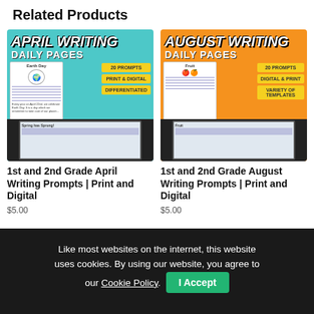Related Products
[Figure (screenshot): April Writing Daily Pages product thumbnail - teal background with title, badges for 20 Prompts, Print & Digital, Differentiated, with worksheet and laptop mockups]
1st and 2nd Grade April Writing Prompts | Print and Digital
$5.00
[Figure (screenshot): August Writing Daily Pages product thumbnail - orange background with title, badges for 20 Prompts, Digital & Print, Variety of Templates, with fruit worksheet and laptop mockups]
1st and 2nd Grade August Writing Prompts | Print and Digital
$5.00
Like most websites on the internet, this website uses cookies. By using our website, you agree to our Cookie Policy.
I Accept